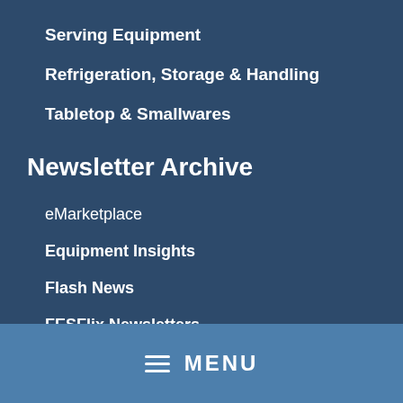Serving Equipment
Refrigeration, Storage & Handling
Tabletop & Smallwares
Newsletter Archive
eMarketplace
Equipment Insights
Flash News
FESFlix Newsletters
Guide to Products
Service Insights
MENU